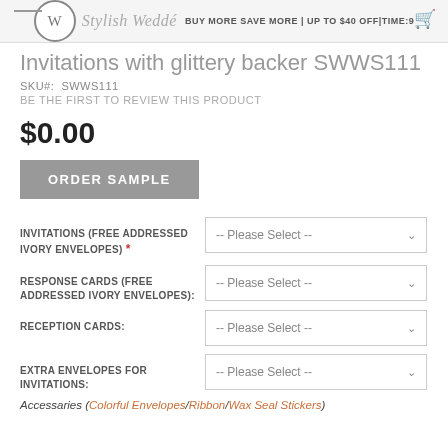BUY MORE SAVE MORE | UP TO $40 OFF | TIME:9
Invitations with glittery backer SWWS111
SKU#: SWWS111
BE THE FIRST TO REVIEW THIS PRODUCT
$0.00
ORDER SAMPLE
INVITATIONS (FREE ADDRESSED IVORY ENVELOPES) *
RESPONSE CARDS (FREE ADDRESSED IVORY ENVELOPES):
RECEPTION CARDS:
EXTRA ENVELOPES FOR INVITATIONS:
Accessaries (Colorful Envelopes/Ribbon/Wax Seal Stickers)